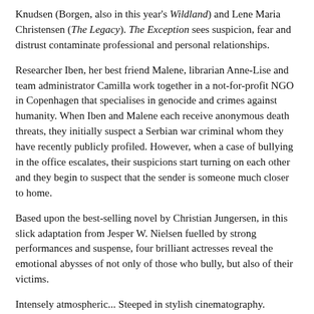Knudsen (Borgen, also in this year's Wildland) and Lene Maria Christensen (The Legacy). The Exception sees suspicion, fear and distrust contaminate professional and personal relationships.
Researcher Iben, her best friend Malene, librarian Anne-Lise and team administrator Camilla work together in a not-for-profit NGO in Copenhagen that specialises in genocide and crimes against humanity. When Iben and Malene each receive anonymous death threats, they initially suspect a Serbian war criminal whom they have recently publicly profiled. However, when a case of bullying in the office escalates, their suspicions start turning on each other and they begin to suspect that the sender is someone much closer to home.
Based upon the best-selling novel by Christian Jungersen, in this slick adaptation from Jesper W. Nielsen fuelled by strong performances and suspense, four brilliant actresses reveal the emotional abysses of not only of those who bully, but also of their victims.
Intensely atmospheric... Steeped in stylish cinematography.
Cineuropa
WINNER
Santa Barbara International Film Festival 2020 - Valhalla Award
NOMINEE
Rodil Awards 2021 - Best Actress, Best Supporting Actress